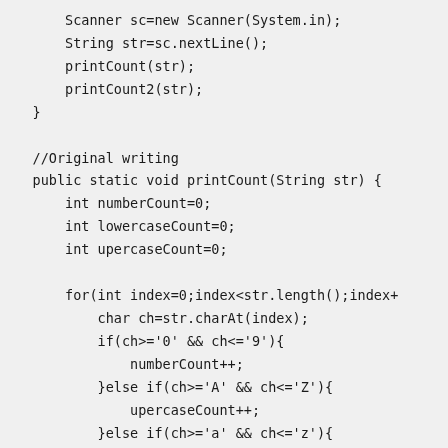Scanner sc=new Scanner(System.in);
    String str=sc.nextLine();
    printCount(str);
    printCount2(str);
}

//Original writing
public static void printCount(String str) {
    int numberCount=0;
    int lowercaseCount=0;
    int upercaseCount=0;

    for(int index=0;index<str.length();index+
        char ch=str.charAt(index);
        if(ch>='0' && ch<='9'){
            numberCount++;
        }else if(ch>='A' && ch<='Z'){
            upercaseCount++;
        }else if(ch>='a' && ch<='z'){
            lowercaseCount++;
        }
    }
}